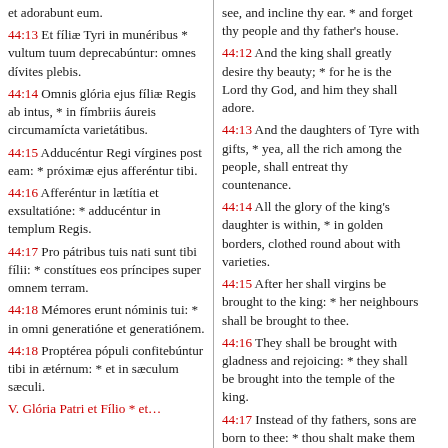et adorabunt eum.
44:13 Et fíliæ Tyri in munéribus * vultum tuum deprecabúntur: omnes dívites plebis.
44:14 Omnis glória ejus fíliæ Regis ab intus, * in fímbriis áureis circumamícta varietátibus.
44:15 Adducéntur Regi vírgines post eam: * próximæ ejus afferéntur tibi.
44:16 Afferéntur in lætítia et exsultatióne: * adducéntur in templum Regis.
44:17 Pro pátribus tuis nati sunt tibi fílii: * constítues eos príncipes super omnem terram.
44:18 Mémores erunt nóminis tui: * in omni generatióne et generatiónem.
44:18 Proptérea pópuli confitebúntur tibi in ætérnum: * et in sæculum sæculi.
see, and incline thy ear. * and forget thy people and thy father's house.
44:12 And the king shall greatly desire thy beauty; * for he is the Lord thy God, and him they shall adore.
44:13 And the daughters of Tyre with gifts, * yea, all the rich among the people, shall entreat thy countenance.
44:14 All the glory of the king's daughter is within, * in golden borders, clothed round about with varieties.
44:15 After her shall virgins be brought to the king: * her neighbours shall be brought to thee.
44:16 They shall be brought with gladness and rejoicing: * they shall be brought into the temple of the king.
44:17 Instead of thy fathers, sons are born to thee: * thou shalt make them princes.